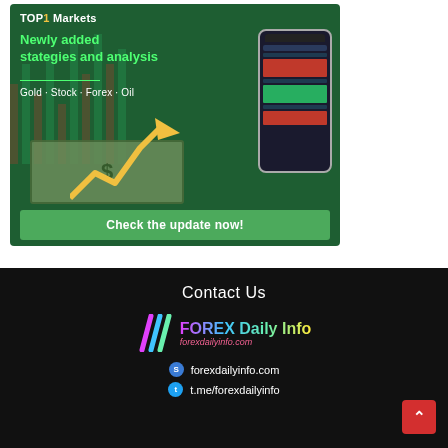[Figure (illustration): TOP1 Markets advertisement banner with dark green background, trading chart candlesticks, US dollar bill, smartphone showing trading app, gold coins, and upward yellow arrow. Text: 'TOP1 Markets', 'Newly added stategies and analysis', 'Gold · Stock · Forex · Oil', 'Check the update now!' button.]
Contact Us
[Figure (logo): FOREX Daily Info logo with colorful slash marks and gradient text 'FOREX Daily Info' and URL 'forexdailyinfo.com' in pink italic below]
forexdailyinfo.com
t.me/forexdailyinfo